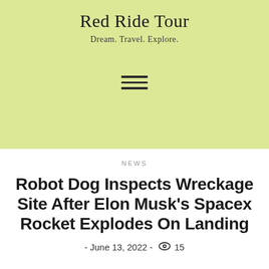Red Ride Tour
Dream. Travel. Explore.
NEWS
Robot Dog Inspects Wreckage Site After Elon Musk's Spacex Rocket Explodes On Landing
- June 13, 2022 - 👁 15